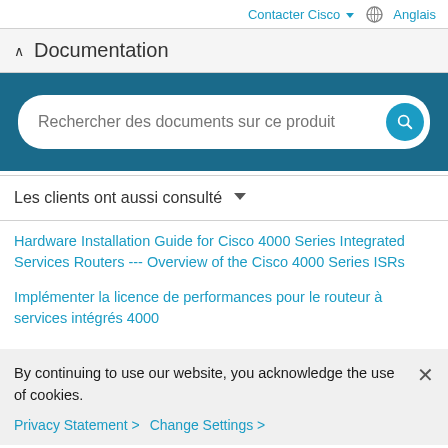Contacter Cisco  Anglais
^ Documentation
[Figure (screenshot): Search bar with placeholder text 'Rechercher des documents sur ce produit' on a dark blue background with a teal search button]
Les clients ont aussi consulté
Hardware Installation Guide for Cisco 4000 Series Integrated Services Routers --- Overview of the Cisco 4000 Series ISRs
Implémenter la licence de performances pour le routeur à services intégrés 4000
By continuing to use our website, you acknowledge the use of cookies.
Privacy Statement >  Change Settings >